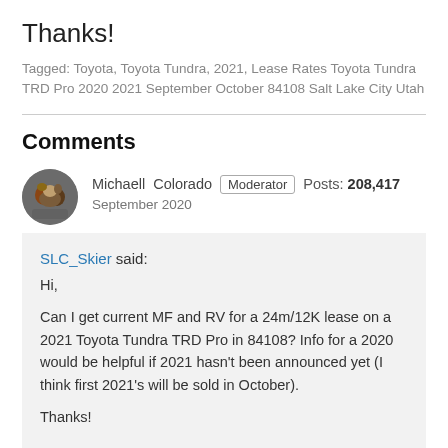Thanks!
Tagged: Toyota, Toyota Tundra, 2021, Lease Rates Toyota Tundra TRD Pro 2020 2021 September October 84108 Salt Lake City Utah
Comments
Michaell  Colorado  Moderator  Posts: 208,417
September 2020
SLC_Skier said:
Hi,

Can I get current MF and RV for a 24m/12K lease on a 2021 Toyota Tundra TRD Pro in 84108? Info for a 2020 would be helpful if 2021 hasn't been announced yet (I think first 2021's will be sold in October).

Thanks!